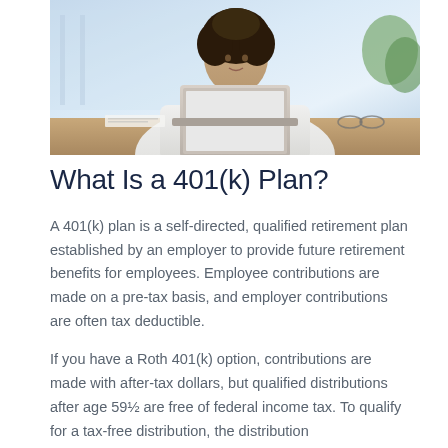[Figure (photo): A woman in a white blazer sitting at a desk working on a laptop computer, with a bright office or window background.]
What Is a 401(k) Plan?
A 401(k) plan is a self-directed, qualified retirement plan established by an employer to provide future retirement benefits for employees. Employee contributions are made on a pre-tax basis, and employer contributions are often tax deductible.
If you have a Roth 401(k) option, contributions are made with after-tax dollars, but qualified distributions after age 59½ are free of federal income tax. To qualify for a tax-free distribution, the distribution